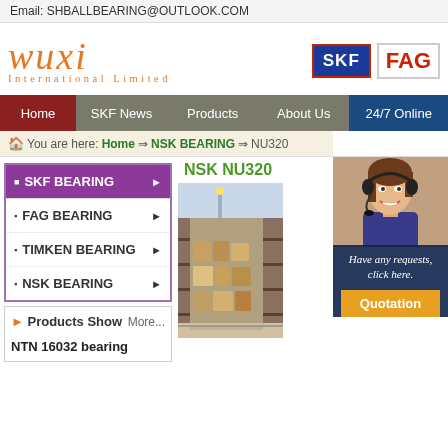Email: SHBALLBEARING@OUTLOOK.COM
[Figure (logo): Wuxi International Limited logo with orange italic script text and SKF (blue) and FAG (red) brand logos]
Home
SKF News
Products
About Us
24/7 Online
You are here: Home => NSK BEARING => NU320
SKF BEARING
FAG BEARING
TIMKEN BEARING
NSK BEARING
NSK NU320
[Figure (photo): Warehouse interior with shelves of packaged bearing products]
[Figure (photo): Customer service representative woman with headset smiling]
Have any requests, click here.
Quotation
Products Show
More...
NTN 16032 bearing